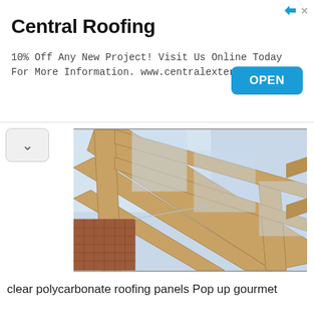Central Roofing
10% Off Any New Project! Visit Us Online Today For More Information. www.centralexteriors.com/
[Figure (photo): Photograph of a wooden roofing frame structure with clear polycarbonate panels, taken from below looking up, with a brick building visible in the background.]
clear polycarbonate roofing panels Pop up gourmet
Posted in Uncategorized  ·